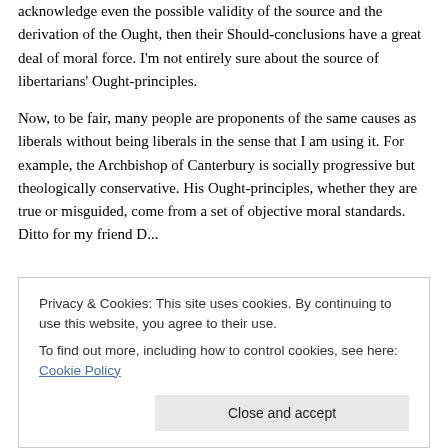acknowledge even the possible validity of the source and the derivation of the Ought, then their Should-conclusions have a great deal of moral force. I'm not entirely sure about the source of libertarians' Ought-principles.
Now, to be fair, many people are proponents of the same causes as liberals without being liberals in the sense that I am using it. For example, the Archbishop of Canterbury is socially progressive but theologically conservative. His Ought-principles, whether they are true or misguided, come from a set of objective moral standards. Ditto for my friend R...
Privacy & Cookies: This site uses cookies. By continuing to use this website, you agree to their use.
To find out more, including how to control cookies, see here: Cookie Policy
Close and accept